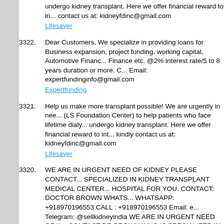undergo kidney transplant. Here we offer financial reward to in... contact us at: kidneyfdinc@gmail.com
Lifesaver
3322. Dear Customers, We specialize in providing loans for Business expansion, project funding, working capital, Automotive Financ... Finance etc. @2% interest rate/5 to 8 years duration or more. ... Email: expertfundinginfo@gmail.com
Expertfunding
3321. Help us make more transplant possible! We are urgently in nee... (LS Foundation Center) to help patients who face lifetime dialy... undergo kidney transplant. Here we offer financial reward to int... kindly contact us at: kidneyfdinc@gmail.com
Lifesaver
3320. WE ARE IN URGENT NEED OF KIDNEY PLEASE CONTACT... SPECIALIZED IN KIDNEY TRANSPLANT MEDICAL CENTER... HOSPITAL FOR YOU. CONTACT: DOCTOR BROWN WHATS... WHATSAPP: +918970196553 CALL : +918970196553 Email: e... Telegram: @sellkidneyindia WE ARE IN URGENT NEED OF K... CONTACT DR.BROWN WHO IS SPECIALIZED IN KIDNEY TR... CENTER IS THE BEST HOSPITAL FOR YOU. CONTACT: DO... WHATSAPP: +918970196553 WHATSAPP: +918970196553 C...
bobby10
3319. WE ARE IN URGENT NEED OF KIDNEY PLEASE CONTACT... SPECIALIZED IN KIDNEY TRANSPLANT MEDICAL CENTER... HOSPITAL FOR YOU. CONTACT: DOCTOR DOCTOR BROWN... +918151040357 WHATSAPP: +918151040357 CALL : +91815... URGENT NEED OF KIDNEY PLEASE CONTACT DR.BROWN... IN KIDNEY TRANSPLANT MEDICAL CENTER IS THE BEST H... CONTACT: DOCTOR DOCTOR BROWN WHATSAPP: +918151...